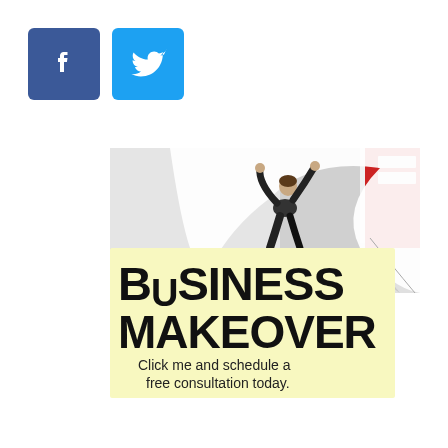[Figure (logo): Facebook logo button — blue rounded square with white 'f' icon]
[Figure (logo): Twitter logo button — light blue rounded square with white bird icon]
[Figure (illustration): Advertisement banner: person in suit peeling back a large white page revealing a red background, overlaid with yellow box containing 'BUSINESS MAKEOVER' headline and 'Click me and schedule a free consultation today.' subtext]
BUSINESS MAKEOVER
Click me and schedule a free consultation today.